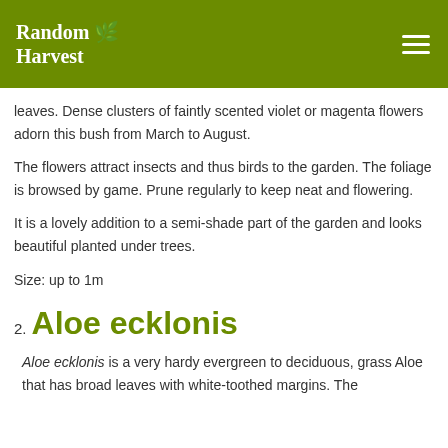Random Harvest
leaves. Dense clusters of faintly scented violet or magenta flowers adorn this bush from March to August.
The flowers attract insects and thus birds to the garden. The foliage is browsed by game. Prune regularly to keep neat and flowering.
It is a lovely addition to a semi-shade part of the garden and looks beautiful planted under trees.
Size: up to 1m
2. Aloe ecklonis
Aloe ecklonis is a very hardy evergreen to deciduous, grass Aloe that has broad leaves with white-toothed margins. The